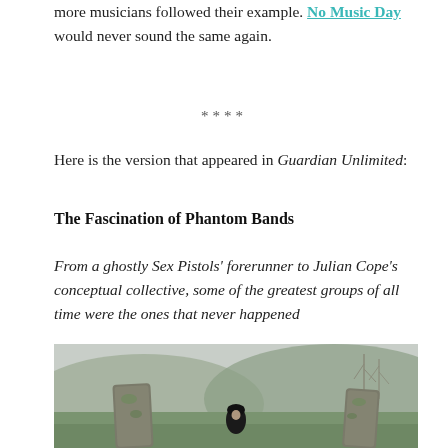more musicians followed their example. No Music Day would never sound the same again.
****
Here is the version that appeared in Guardian Unlimited:
The Fascination of Phantom Bands
From a ghostly Sex Pistols' forerunner to Julian Cope's conceptual collective, some of the greatest groups of all time were the ones that never happened
[Figure (photo): Outdoor photograph showing a person in dark clothing and hat standing between large mossy standing stones in a green hilly landscape with bare trees in the misty background.]